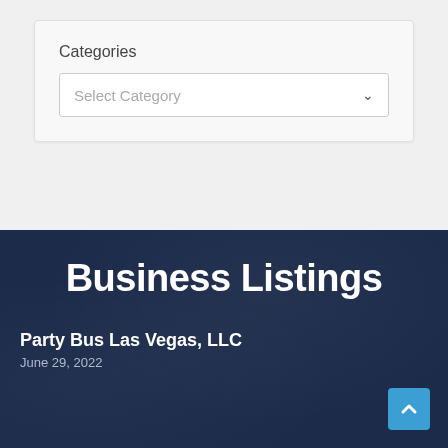Categories
[Figure (screenshot): A dropdown selector UI widget with placeholder text 'Select Category' and a chevron arrow on the right, inside a light gray card]
Business Listings
Party Bus Las Vegas, LLC
June 29, 2022